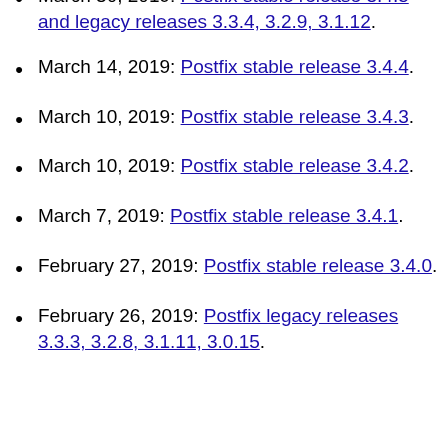releases 3.3.5, 3.2.10, 3.1.13.
March 30, 2019: Postfix stable release 3.4.5 and legacy releases 3.3.4, 3.2.9, 3.1.12.
March 14, 2019: Postfix stable release 3.4.4.
March 10, 2019: Postfix stable release 3.4.3.
March 10, 2019: Postfix stable release 3.4.2.
March 7, 2019: Postfix stable release 3.4.1.
February 27, 2019: Postfix stable release 3.4.0.
February 26, 2019: Postfix legacy releases 3.3.3, 3.2.8, 3.1.11, 3.0.15.